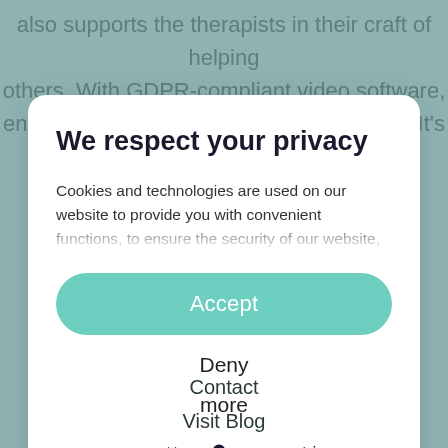also supports the therapists in their craft of helping others. With GDPR-compliant video software, encrypted messaging, and easy invoicing. It's
We respect your privacy
Cookies and technologies are used on our website to provide you with convenient functions, to ensure the security of our website, to display content in an
Accept
Deny
more
Powered by usercentrics
Imprint | Privacy Policy
Contact
Visit Blog